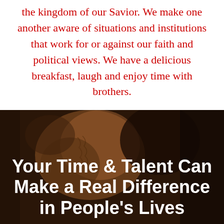the kingdom of our Savior. We make one another aware of situations and institutions that work for or against our faith and political views. We have a delicious breakfast, laugh and enjoy time with brothers.
[Figure (photo): Dark close-up photo of hands (possibly clasped or holding something), with warm brown/dark tones, serving as a background for the title text below.]
Your Time & Talent Can Make a Real Difference in People's Lives